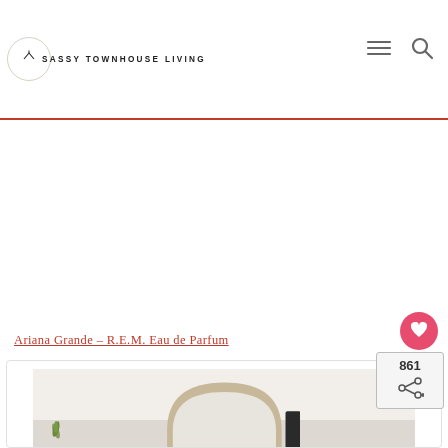[Figure (logo): Sassy Townhouse Living logo: circular badge with a small house/roof icon above the text SASSY TOWNHOUSE LIVING]
SASSY TOWNHOUSE LIVING
Ariana Grande – R.E.M. Eau de Parfum
[Figure (photo): Photo inside a card showing a round mirror leaning against a wall with a small plant beside it]